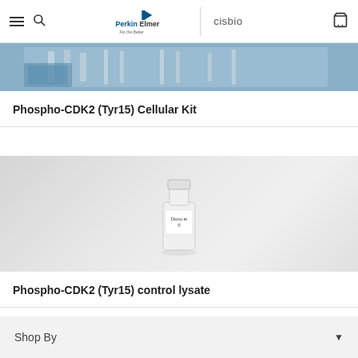PerkinElmer cisbio
[Figure (photo): Partial product image showing lab equipment/strips with blue tones at top of card]
Phospho-CDK2 (Tyr15) Cellular Kit
[Figure (photo): White vial/bottle product on light gray background]
Phospho-CDK2 (Tyr15) control lysate
Shop By